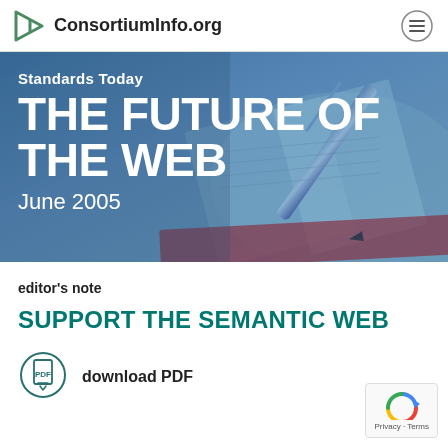ConsortiumInfo.org
[Figure (photo): Hero banner showing a blue notebook with a pen on it, with overlay text: Standards Today / THE FUTURE OF THE WEB / June 2005]
THE FUTURE OF THE WEB
Standards Today
June 2005
editor's note
SUPPORT THE SEMANTIC WEB
download PDF